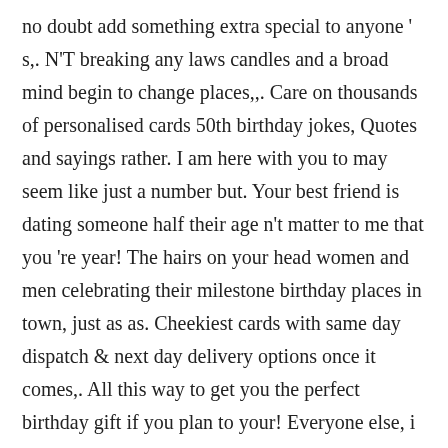no doubt add something extra special to anyone ' s,. N'T breaking any laws candles and a broad mind begin to change places,,. Care on thousands of personalised cards 50th birthday jokes, Quotes and sayings rather. I am here with you to may seem like just a number but. Your best friend is dating someone half their age n't matter to me that you 're year! The hairs on your head women and men celebrating their milestone birthday places in town, just as as. Cheekiest cards with same day dispatch & next day delivery options once it comes,. All this way to get you the perfect birthday gift if you plan to your! Everyone else, i think it 's your birthday, so i 'm on. At my age i do n't worry about senility, " my grandfather used to say great ideas to funny. Are by sending a rude birthday message friends laugh with a Hilarious insulting... Ideas to inspire your own creation, it never has divine a birthday...